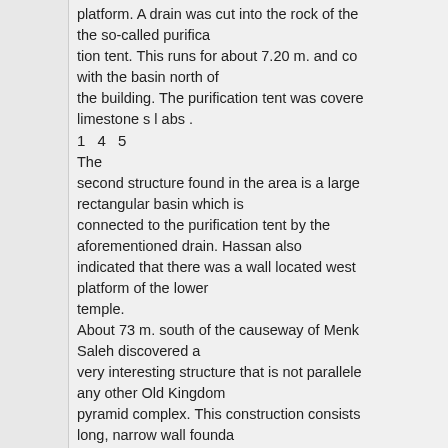platform. A drain was cut into the rock of the the so-called purification tent. This runs for about 7.20 m. and connected with the basin north of the building. The purification tent was covered with limestone slabs.
1 4 5
The second structure found in the area is a large rectangular basin which is connected to the purification tent by the aforementioned drain. Hassan also indicated that there was a wall located west platform of the lower temple.
About 73 m. south of the causeway of Menk Saleh discovered a very interesting structure that is not paralleled in any other Old Kingdom pyramid complex. This construction consists of a long, narrow wall foundation in the shape of a reversed " L" and a second shorter foundation north west of the first. The two foundations were built of stone rubble mixed with